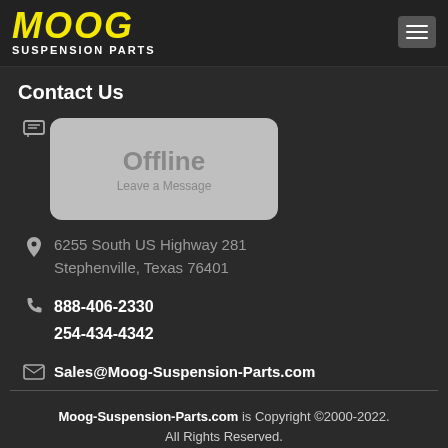[Figure (logo): MOOG Suspension Parts logo with yellow italic MOOG text and white SUSPENSION PARTS subtitle on dark background]
Contact Us
[Figure (screenshot): Offline chat widget button with grey rounded rectangle showing 'Offline - Leave a Message']
6255 South US Highway 281
Stephenville, Texas 76401
888-406-2330
254-434-4342
Sales@Moog-Suspension-Parts.com
Moog-Suspension-Parts.com is Copyright ©2000-2022. All Rights Reserved.